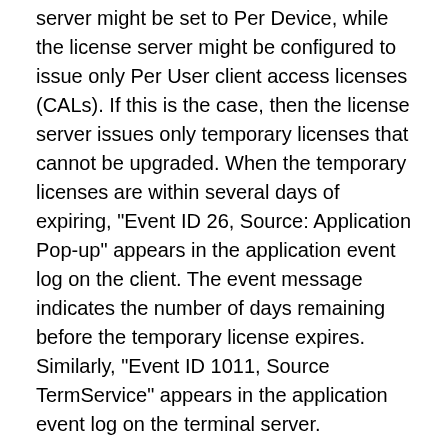server might be set to Per Device, while the license server might be configured to issue only Per User client access licenses (CALs). If this is the case, then the license server issues only temporary licenses that cannot be upgraded. When the temporary licenses are within several days of expiring, "Event ID 26, Source: Application Pop-up" appears in the application event log on the client. The event message indicates the number of days remaining before the temporary license expires. Similarly, "Event ID 1011, Source TermService" appears in the application event log on the terminal server.
Solution:  Change the Terminal Server licensing mode from Per Device to Per User.
Important
Per User CALs are not monitored by Terminal Server. This means that even though the solution Per User CALs the...